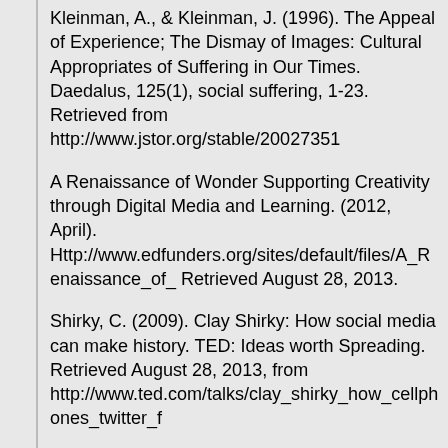Kleinman, A., & Kleinman, J. (1996). The Appeal of Experience; The Dismay of Images: Cultural Appropriates of Suffering in Our Times. Daedalus, 125(1), social suffering, 1-23. Retrieved from http://www.jstor.org/stable/20027351
A Renaissance of Wonder Supporting Creativity through Digital Media and Learning. (2012, April). Http://www.edfunders.org/sites/default/files/A_Renaissance_of_ Retrieved August 28, 2013.
Shirky, C. (2009). Clay Shirky: How social media can make history. TED: Ideas worth Spreading. Retrieved August 28, 2013, from http://www.ted.com/talks/clay_shirky_how_cellphones_twitter_f
Werbel, J. D. (2000). Strategic Philanthropy: Responding to Negative Portrayals of Corporate Social Responsibility. Corporate Reputation Review, 3(2), 124-136. Retrieved August 28, 2013, from